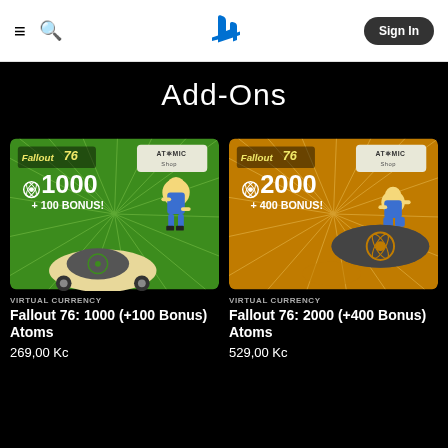PlayStation Store - Add-Ons
Add-Ons
[Figure (illustration): Fallout 76: 1000 (+100 Bonus) Atoms green promotional card showing Vault Boy and atomic bomb cart]
VIRTUAL CURRENCY
Fallout 76: 1000 (+100 Bonus) Atoms
269,00 Kc
[Figure (illustration): Fallout 76: 2000 (+400 Bonus) Atoms gold/orange promotional card showing Vault Boy sitting on atomic bomb]
VIRTUAL CURRENCY
Fallout 76: 2000 (+400 Bonus) Atoms
529,00 Kc